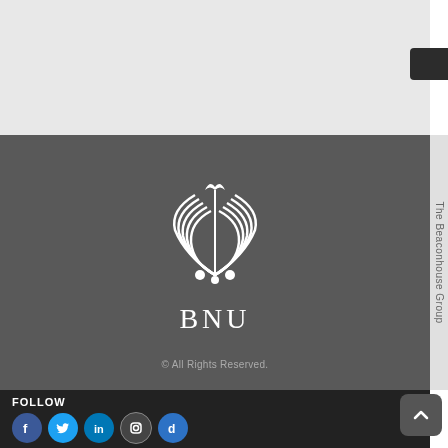[Figure (logo): BNU (Beaconhouse National University) logo - ornate symmetrical feather/wing design in white on dark gray background with text BNU below]
© All Rights Reserved.
The Beaconhouse Group
FOLLOW
[Figure (other): Social media icons: Facebook, Twitter, LinkedIn, Instagram, Dailymotion]
SHARE